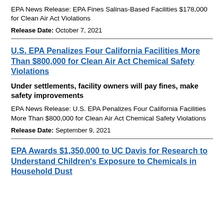EPA News Release: EPA Fines Salinas-Based Facilities $178,000 for Clean Air Act Violations
Release Date: October 7, 2021
U.S. EPA Penalizes Four California Facilities More Than $800,000 for Clean Air Act Chemical Safety Violations
Under settlements, facility owners will pay fines, make safety improvements
EPA News Release: U.S. EPA Penalizes Four California Facilities More Than $800,000 for Clean Air Act Chemical Safety Violations
Release Date: September 9, 2021
EPA Awards $1,350,000 to UC Davis for Research to Understand Children's Exposure to Chemicals in Household Dust